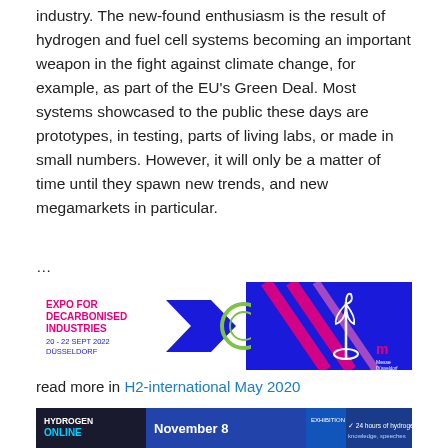industry. The new-found enthusiasm is the result of hydrogen and fuel cell systems becoming an important weapon in the fight against climate change, for example, as part of the EU's Green Deal. Most systems showcased to the public these days are prototypes, in testing, parts of living labs, or made in small numbers. However, it will only be a matter of time until they spawn new trends, and new megamarkets in particular.
…
[Figure (infographic): Advertisement banner for Expo for Decarbonised Industries, 20-22 Sept 2022, Düsseldorf. Shows energy storage icon, wind turbine graphic, blue and pink diagonal stripes on right side, Messe Düsseldorf logo.]
read more in H2-international May 2020
[Figure (infographic): Hydrogen Online conference banner showing logo on left, 'November 8' text in center-left, event session icons in center, and '24 hours of hydrogen knowledge' text on right with blue background.]